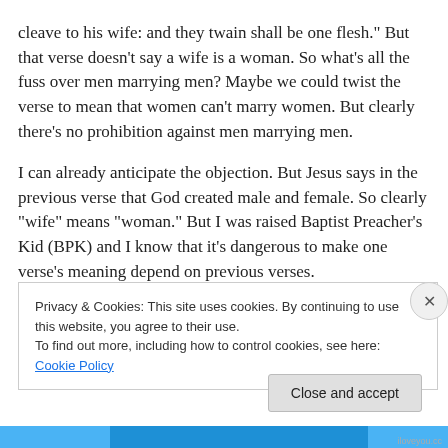cleave to his wife: and they twain shall be one flesh.” But that verse doesn’t say a wife is a woman. So what’s all the fuss over men marrying men? Maybe we could twist the verse to mean that women can’t marry women. But clearly there’s no prohibition against men marrying men.
I can already anticipate the objection. But Jesus says in the previous verse that God created male and female. So clearly “wife” means “woman.” But I was raised Baptist Preacher’s Kid (BPK) and I know that it’s dangerous to make one verse’s meaning depend on previous verses.
Privacy & Cookies: This site uses cookies. By continuing to use this website, you agree to their use.
To find out more, including how to control cookies, see here: Cookie Policy
Close and accept